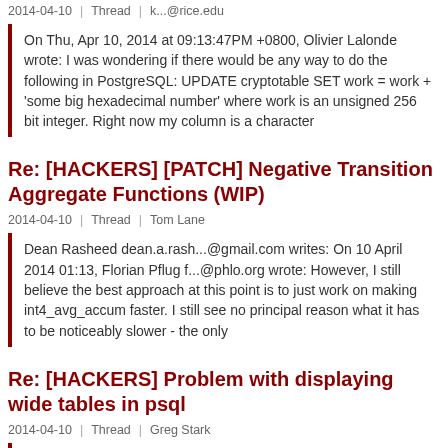2014-04-10  |  Thread  |  k...@rice.edu
On Thu, Apr 10, 2014 at 09:13:47PM +0800, Olivier Lalonde wrote: I was wondering if there would be any way to do the following in PostgreSQL: UPDATE cryptotable SET work = work + 'some big hexadecimal number' where work is an unsigned 256 bit integer. Right now my column is a character
Re: [HACKERS] [PATCH] Negative Transition Aggregate Functions (WIP)
2014-04-10  |  Thread  |  Tom Lane
Dean Rasheed dean.a.rash...@gmail.com writes: On 10 April 2014 01:13, Florian Pflug f...@phlo.org wrote: However, I still believe the best approach at this point is to just work on making int4_avg_accum faster. I still see no principal reason what it has to be noticeably slower - the only
Re: [HACKERS] Problem with displaying wide tables in psql
2014-04-10  |  Thread  |  Greg Stark
Ok, So I've hacked on this a bit. Below is a test case showing the problems I've found. 1) It isn't using the newline and wrap indicators or dividing lines. 2) The header is not being displayed properly when it contains a newline. I can hack in